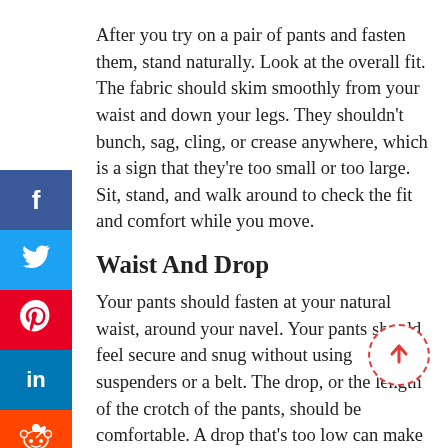After you try on a pair of pants and fasten them, stand naturally. Look at the overall fit. The fabric should skim smoothly from your waist and down your legs. They shouldn't bunch, sag, cling, or crease anywhere, which is a sign that they're too small or too large. Sit, stand, and walk around to check the fit and comfort while you move.
Waist And Drop
Your pants should fasten at your natural waist, around your navel. Your pants should feel secure and snug without using suspenders or a belt. The drop, or the length of the crotch of the pants, should be comfortable. A drop that's too low can make your legs look short, and a drop that's too high may feel tight.
Break
The break is how much the hem of your pant legs rests on the tops of your shoes. "No break" means the hem of your pants